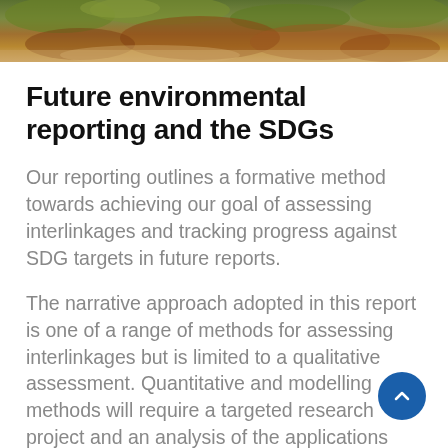[Figure (photo): Photograph of natural landscape with green mossy rocks and earth tones, cropped at top of page]
Future environmental reporting and the SDGs
Our reporting outlines a formative method towards achieving our goal of assessing interlinkages and tracking progress against SDG targets in future reports.
The narrative approach adopted in this report is one of a range of methods for assessing interlinkages but is limited to a qualitative assessment. Quantitative and modelling methods will require a targeted research project and an analysis of the applications across all themes to measure Victoria's progress on the